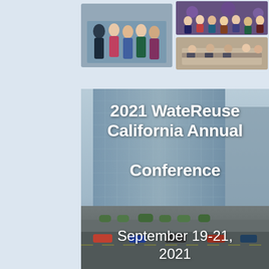[Figure (photo): Collage of three conference photos: left photo shows a group of people with lanyards at a conference event; top-right photo shows a group on a colorful stage with purple lighting; bottom-right photo shows people seated at conference tables.]
[Figure (photo): Large background photo of a modern glass skyscraper with an urban streetscape below, overlaid with white bold text reading '2021 WateReuse California Annual Conference' and 'September 19-21, 2021'.]
2021 WateReuse California Annual Conference
September 19-21, 2021